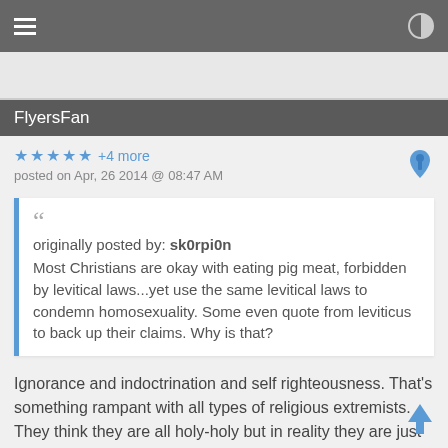FlyersFan
★ ★ ★ ★ ★ +4 more
posted on Apr, 26 2014 @ 08:47 AM
originally posted by: sk0rpi0n
Most Christians are okay with eating pig meat, forbidden by levitical laws...yet use the same levitical laws to condemn homosexuality. Some even quote from leviticus to back up their claims. Why is that?
Ignorance and indoctrination and self righteousness. That's something rampant with all types of religious extremists.
They think they are all holy-holy but in reality they are just dumb-dumb.